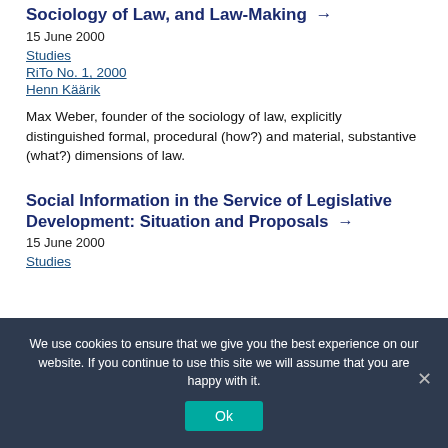Sociology of Law, and Law-Making →
15 June 2000
Studies
RiTo No. 1, 2000
Henn Käärik
Max Weber, founder of the sociology of law, explicitly distinguished formal, procedural (how?) and material, substantive (what?) dimensions of law.
Social Information in the Service of Legislative Development: Situation and Proposals →
15 June 2000
Studies
We use cookies to ensure that we give you the best experience on our website. If you continue to use this site we will assume that you are happy with it.